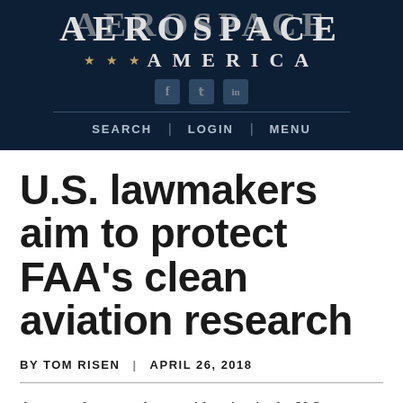AEROSPACE AMERICA
U.S. lawmakers aim to protect FAA's clean aviation research
BY TOM RISEN   |   APRIL 26, 2018
An amendment under consideration in the U.S.